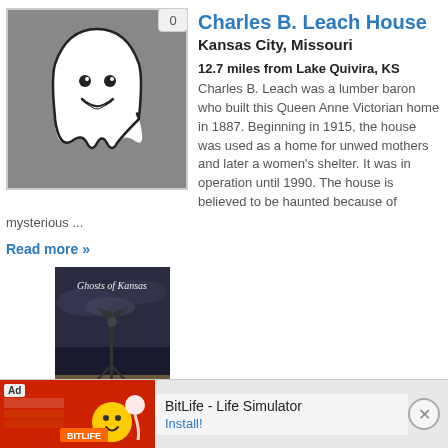[Figure (illustration): Ghost icon - white cartoon ghost on dark gray background with a badge showing '0' in top right corner]
Charles B. Leach House
Kansas City, Missouri
12.7 miles from Lake Quivira, KS
Charles B. Leach was a lumber baron who built this Queen Anne Victorian home in 1887. Beginning in 1915, the house was used as a home for unwed mothers and later a women's shelter. It was in operation until 1990. The house is believed to be haunted because of mysterious ...
Read more »
[Figure (photo): Book cover - 'Ghosts of Kansas' showing a windmill silhouette against a stormy dark sky]
[Figure (screenshot): Advertisement banner for BitLife - Life Simulator app with Install! button]